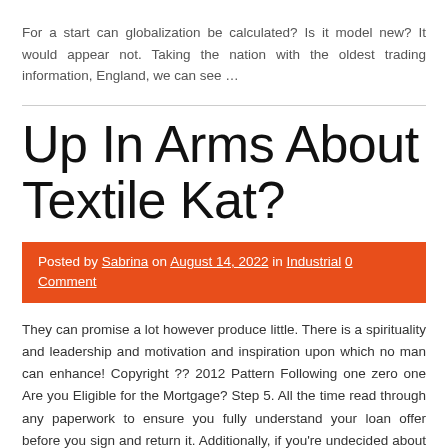For a start can globalization be calculated? Is it model new? It would appear not. Taking the nation with the oldest trading information, England, we can see …
Up In Arms About Textile Kat?
Posted by Sabrina on August 14, 2022 in Industrial 0 Comment
They can promise a lot however produce little. There is a spirituality and leadership and motivation and inspiration upon which no man can enhance! Copyright ?? 2012 Pattern Following one zero one Are you Eligible for the Mortgage? Step 5. All the time read through any paperwork to ensure you fully understand your loan offer before you sign and return it. Additionally, if you're undecided about anything be